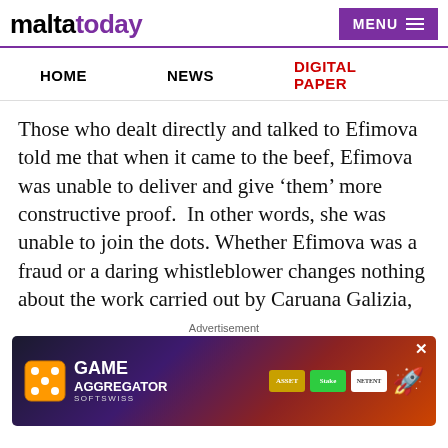maltatoday | MENU
HOME | NEWS | DIGITAL PAPER
Those who dealt directly and talked to Efimova told me that when it came to the beef, Efimova was unable to deliver and give ‘them’ more constructive proof.  In other words, she was unable to join the dots. Whether Efimova was a fraud or a daring whistleblower changes nothing about the work carried out by Caruana Galizia, work that no one imagined would have led to her murder and reveal the involvement of the people inside Castille.
I sense that the outburst against Giglio is more about the fear that this successful criminal defence lawyer...Natio...